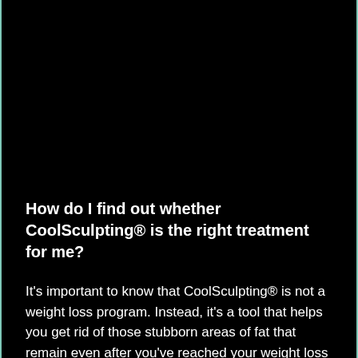How do I find out whether CoolSculpting® is the right treatment for me?
It's important to know that CoolSculpting® is not a weight loss program. Instead, it's a tool that helps you get rid of those stubborn areas of fat that remain even after you've reached your weight loss goal and as you continue to eat a healthy diet and exercise regularly. Your Glam Room MedSpa professional will help assess your needs